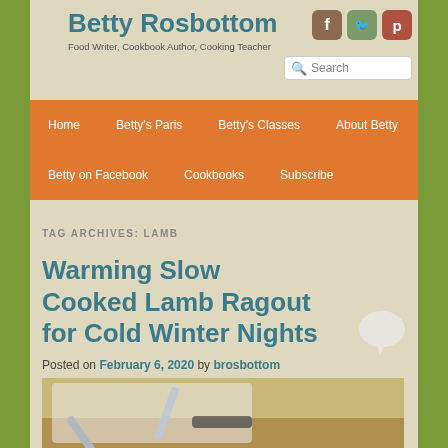Betty Rosbottom
Food Writer, Cookbook Author, Cooking Teacher
Home | Betty's Paris | Betty's Classes | About Betty | Betty on Facebook | Cookbooks | Subscribe
TAG ARCHIVES: LAMB
Warming Slow Cooked Lamb Ragout for Cold Winter Nights
Posted on February 6, 2020 by brosbottom
[Figure (photo): Food photo showing crossed knives or silverware on a wooden surface, partially visible at bottom of page]